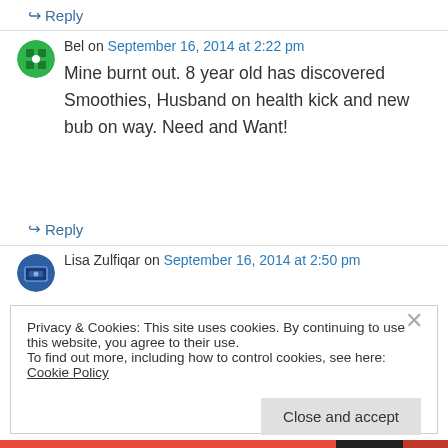↪ Reply
Bel on September 16, 2014 at 2:22 pm
Mine burnt out. 8 year old has discovered Smoothies, Husband on health kick and new bub on way. Need and Want!
↪ Reply
Lisa Zulfiqar on September 16, 2014 at 2:50 pm
Privacy & Cookies: This site uses cookies. By continuing to use this website, you agree to their use.
To find out more, including how to control cookies, see here: Cookie Policy
Close and accept